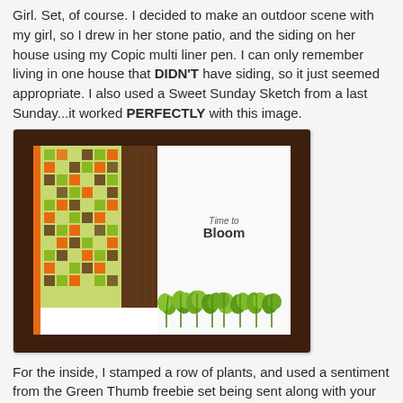Girl. Set, of course. I decided to make an outdoor scene with my girl, so I drew in her stone patio, and the siding on her house using my Copic multi liner pen. I can only remember living in one house that DIDN'T have siding, so it just seemed appropriate. I also used a Sweet Sunday Sketch from a last Sunday...it worked PERFECTLY with this image.
[Figure (photo): Photo of an open handmade card showing the inside: left panel has a patterned paper with a colorful plaid/grid design in green, orange, and brown squares, next to a strip of brown textured paper with vertical lines, and the right white panel shows green stamped plants at the bottom and text reading 'Time to Bloom'. The card is placed on a dark brown cardstock background.]
For the inside, I stamped a row of plants, and used a sentiment from the Green Thumb freebie set being sent along with your VIP package...cause I KNOW you are going to buy it!!